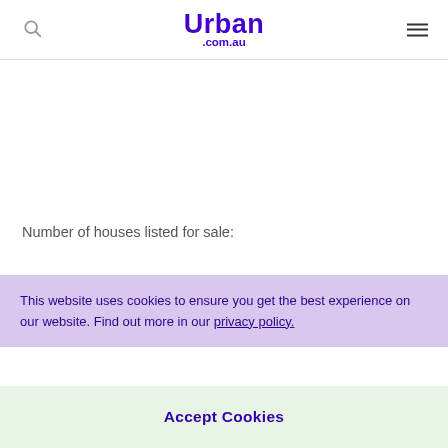Urban .com.au
Number of houses listed for sale:
This website uses cookies to ensure you get the best experience on our website. Find out more in our privacy policy.
Accept Cookies